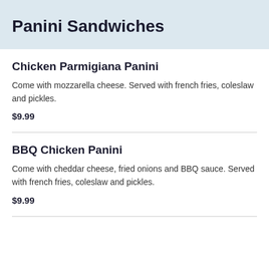Panini Sandwiches
Chicken Parmigiana Panini
Come with mozzarella cheese. Served with french fries, coleslaw and pickles.
$9.99
BBQ Chicken Panini
Come with cheddar cheese, fried onions and BBQ sauce. Served with french fries, coleslaw and pickles.
$9.99